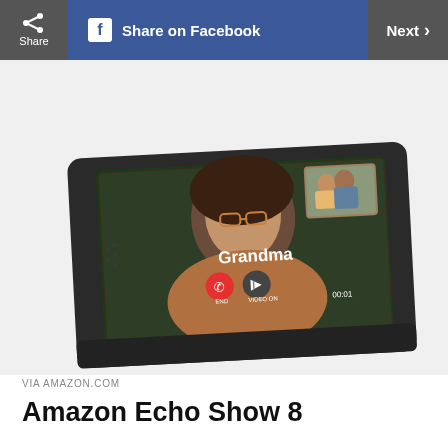Share | Share on Facebook | Next
[Figure (photo): Amazon Echo Show 8 smart display device showing a video call with 'Grandma' on screen. The device has a dark charcoal fabric body. The screen displays a woman wearing glasses (Grandma) with a small inset picture-in-picture of a man and child. Red end-call button and video icon are visible, along with a 00:01 timer.]
VIA AMAZON.COM
Amazon Echo Show 8